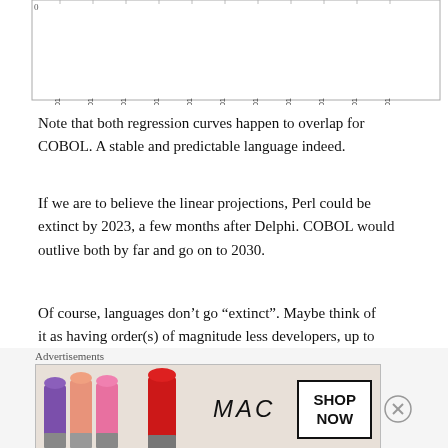[Figure (continuous-plot): Bottom portion of a time-series chart with x-axis labels from 2014-01-01 to 2024-01-01, showing regression curves for programming languages (COBOL, Perl, Delphi).]
Note that both regression curves happen to overlap for COBOL. A stable and predictable language indeed.
If we are to believe the linear projections, Perl could be extinct by 2023, a few months after Delphi. COBOL would outlive both by far and go on to 2030.
Of course, languages don't go “extinct”. Maybe think of it as having order(s) of magnitude less developers, up to a stage where there's really not much left. Typically those making/selling the language/tooling will be among the last to know about it, as well as a few curious googlers.
[Figure (photo): Advertisement banner for MAC cosmetics showing lipsticks in purple, pink, and red colors with MAC logo and 'SHOP NOW' button. Labeled 'Advertisements' above.]